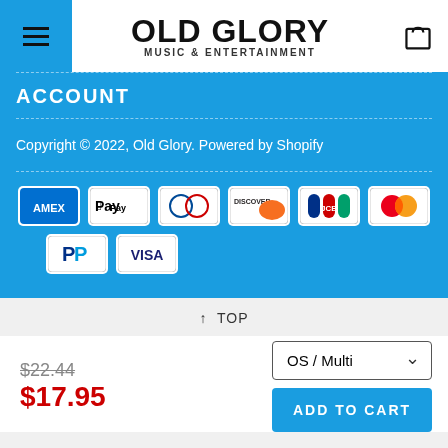OLD GLORY MUSIC & ENTERTAINMENT
ACCOUNT
Copyright © 2022, Old Glory. Powered by Shopify
[Figure (logo): Payment method icons: Amex, Apple Pay, Diners Club, Discover, JCB, Mastercard, PayPal, Visa]
↑ TOP
$22.44 (strikethrough) $17.95
OS / Multi (dropdown)
ADD TO CART